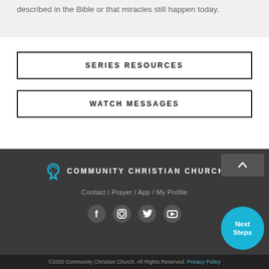described in the Bible or that miracles still happen today.
Series Resources
Watch Messages
[Figure (logo): Community Christian Church logo with circular arrow icon and white text]
Contact / Prayer / App / My Profile
[Figure (infographic): Social media icons: Facebook, Instagram, Twitter, YouTube]
©2020 Community Christian Church. All Rights Reserved. Privacy Policy